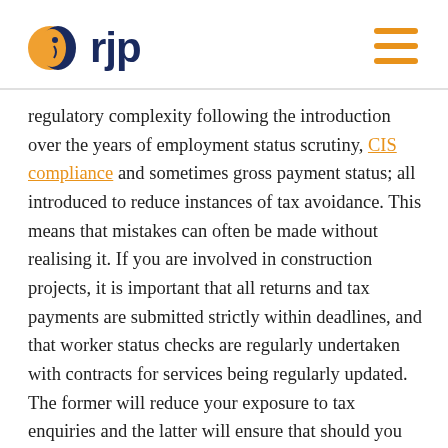rjp
regulatory complexity following the introduction over the years of employment status scrutiny, CIS compliance and sometimes gross payment status; all introduced to reduce instances of tax avoidance. This means that mistakes can often be made without realising it. If you are involved in construction projects, it is important that all returns and tax payments are submitted strictly within deadlines, and that worker status checks are regularly undertaken with contracts for services being regularly updated. The former will reduce your exposure to tax enquiries and the latter will ensure that should you have an enquiry in relation to status issues, you are well equipped